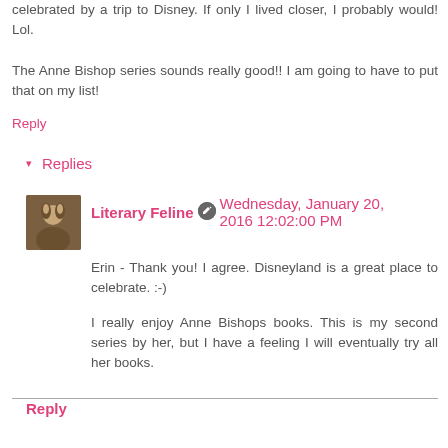celebrated by a trip to Disney. If only I lived closer, I probably would! Lol.

The Anne Bishop series sounds really good!! I am going to have to put that on my list!
Reply
▾ Replies
Literary Feline  Wednesday, January 20, 2016 12:02:00 PM
Erin - Thank you! I agree. Disneyland is a great place to celebrate. :-)

I really enjoy Anne Bishops books. This is my second series by her, but I have a feeling I will eventually try all her books.
Reply